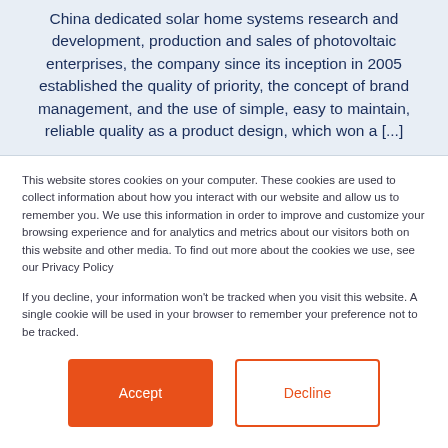China dedicated solar home systems research and development, production and sales of photovoltaic enterprises, the company since its inception in 2005 established the quality of priority, the concept of brand management, and the use of simple, easy to maintain, reliable quality as a product design, which won a [...]
This website stores cookies on your computer. These cookies are used to collect information about how you interact with our website and allow us to remember you. We use this information in order to improve and customize your browsing experience and for analytics and metrics about our visitors both on this website and other media. To find out more about the cookies we use, see our Privacy Policy
If you decline, your information won't be tracked when you visit this website. A single cookie will be used in your browser to remember your preference not to be tracked.
Accept
Decline